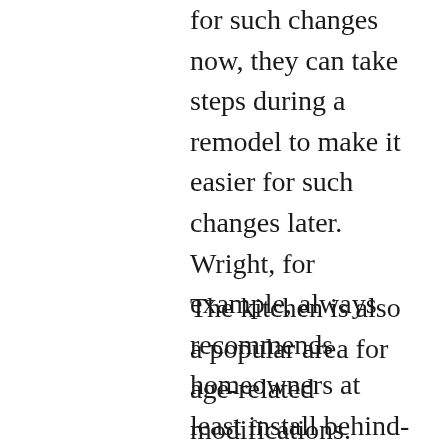for such changes now, they can take steps during a remodel to make it easier for such changes later. Wright, for example, always recommends homeowners at least install behind-the-wall blocking for grab bars to be installed later.
The kitchen is also a popular area for age-related modifications. Lowering countertop areas to 30 or 32 inches above the ground rather than the standard 36 can help those with arthritis, says Kent Eberle, president of Sacramento-based